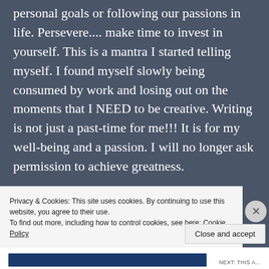personal goals or following our passions in life. Persevere.... make time to invest in yourself. This is a mantra I started telling myself. I found myself slowly being consumed by work and losing out on the moments that I NEED to be creative. Writing is not just a past-time for me!!! It is for my well-being and a passion. I will no longer ask permission to achieve greatness.
Privacy & Cookies: This site uses cookies. By continuing to use this website, you agree to their use. To find out more, including how to control cookies, see here: Cookie Policy
Close and accept